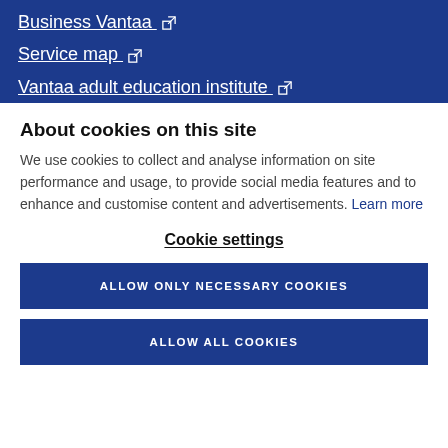Business Vantaa ↗
Service map ↗
Vantaa adult education institute ↗
About cookies on this site
We use cookies to collect and analyse information on site performance and usage, to provide social media features and to enhance and customise content and advertisements. Learn more
Cookie settings
ALLOW ONLY NECESSARY COOKIES
ALLOW ALL COOKIES